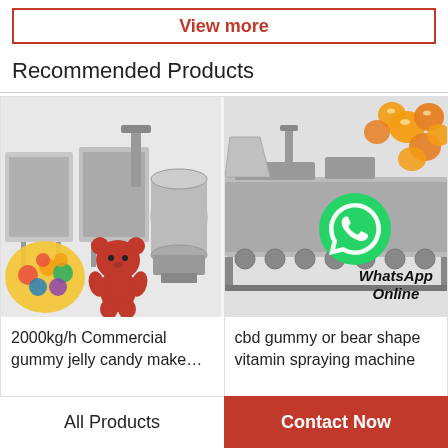View more
Recommended Products
[Figure (photo): Industrial gummy candy making machine with colorful gummy bears in foreground]
2000kg/h Commercial gummy jelly candy make…
[Figure (photo): CBD gummy or bear shape vitamin spraying machine with orange gummy candies and WhatsApp Online overlay]
cbd gummy or bear shape vitamin spraying machine
All Products
Contact Now